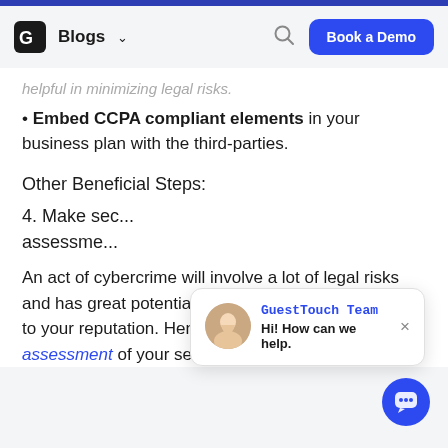Blogs  Book a Demo
helpful in minimizing legal risks.
Embed CCPA compliant elements in your business plan with the third-parties.
Other Beneficial Steps:
4. Make se[curity] assessme[nts]
An act of cybercrime will involve a lot of legal risks and has great potential to pose unthinkable damage to your reputation. Hence a comprehensive assessment of your security and IT infrastructure is